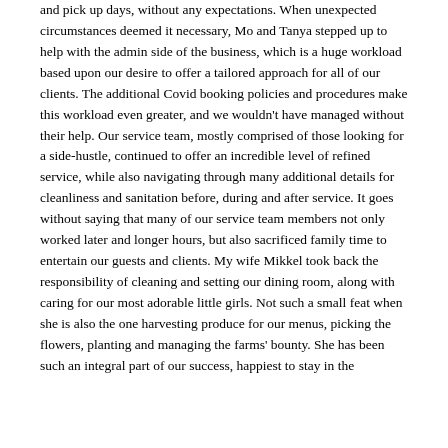and pick up days, without any expectations. When unexpected circumstances deemed it necessary, Mo and Tanya stepped up to help with the admin side of the business, which is a huge workload based upon our desire to offer a tailored approach for all of our clients. The additional Covid booking policies and procedures make this workload even greater, and we wouldn't have managed without their help. Our service team, mostly comprised of those looking for a side-hustle, continued to offer an incredible level of refined service, while also navigating through many additional details for cleanliness and sanitation before, during and after service. It goes without saying that many of our service team members not only worked later and longer hours, but also sacrificed family time to entertain our guests and clients. My wife Mikkel took back the responsibility of cleaning and setting our dining room, along with caring for our most adorable little girls. Not such a small feat when she is also the one harvesting produce for our menus, picking the flowers, planting and managing the farms' bounty. She has been such an integral part of our success, happiest to stay in the